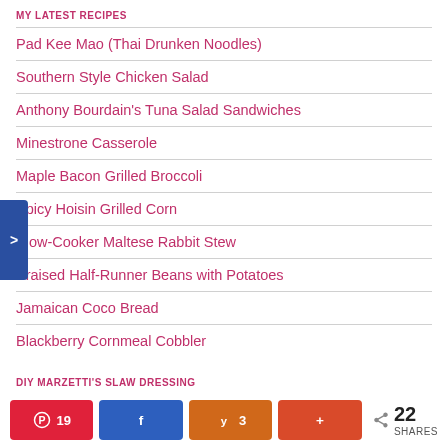MY LATEST RECIPES
Pad Kee Mao (Thai Drunken Noodles)
Southern Style Chicken Salad
Anthony Bourdain's Tuna Salad Sandwiches
Minestrone Casserole
Maple Bacon Grilled Broccoli
Spicy Hoisin Grilled Corn
Slow-Cooker Maltese Rabbit Stew
Braised Half-Runner Beans with Potatoes
Jamaican Coco Bread
Blackberry Cornmeal Cobbler
DIY MARZETTI'S SLAW DRESSING
19  3  22 SHARES share buttons (Pinterest, Facebook, Yummly, Share+)